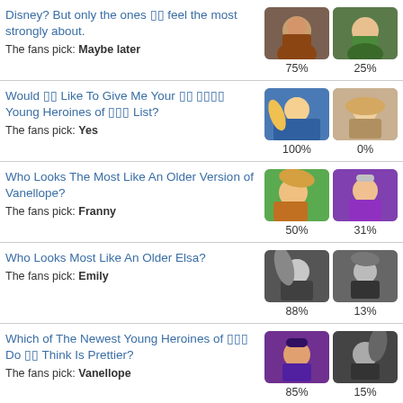Disney? But only the ones 🔲🔲 feel the most strongly about.
The fans pick: Maybe later
Would 🔲🔲 Like To Give Me Your 🔲🔲 🔲🔲🔲🔲 Young Heroines of 🔲🔲🔲 List?
The fans pick: Yes
Who Looks The Most Like An Older Version of Vanellope?
The fans pick: Franny
Who Looks Most Like An Older Elsa?
The fans pick: Emily
Which of The Newest Young Heroines of 🔲🔲🔲 Do 🔲🔲 Think Is Prettier?
The fans pick: Vanellope